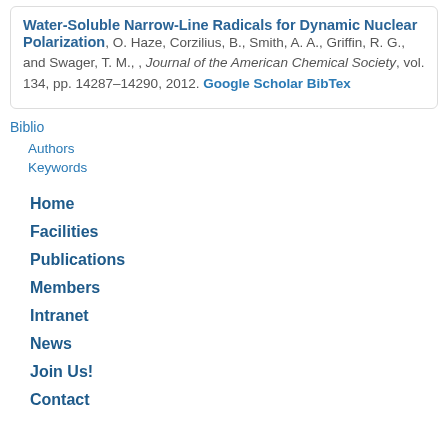Water-Soluble Narrow-Line Radicals for Dynamic Nuclear Polarization, O. Haze, Corzilius, B., Smith, A. A., Griffin, R. G., and Swager, T. M., , Journal of the American Chemical Society, vol. 134, pp. 14287–14290, 2012. Google Scholar BibTex
Biblio
Authors
Keywords
Home
Facilities
Publications
Members
Intranet
News
Join Us!
Contact